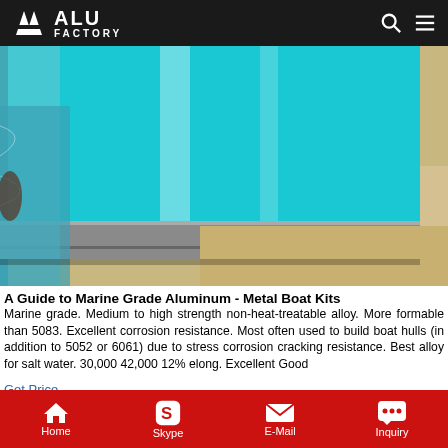ALU FACTORY
[Figure (photo): Close-up photo of marine grade aluminum sheet with blue protective film partially peeled back, revealing metallic aluminum edge, sitting on packaging material]
A Guide to Marine Grade Aluminum - Metal Boat Kits
Marine grade. Medium to high strength non-heat-treatable alloy. More formable than 5083. Excellent corrosion resistance. Most often used to build boat hulls (in addition to 5052 or 6061) due to stress corrosion cracking resistance. Best alloy for salt water. 30,000 42,000 12% elong. Excellent Good
Get Price
[Figure (photo): Blue aluminum sheet panels viewed from above]
Home  Skype  E-Mail  Inquiry